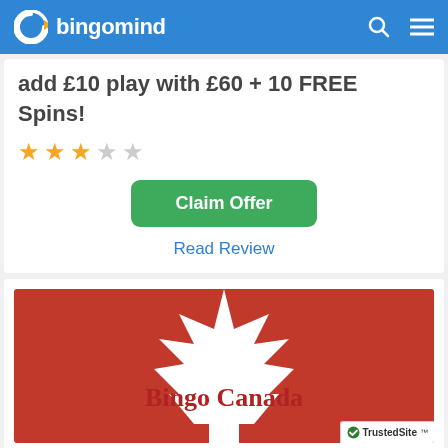bingomind
add £10 play with £60 + 10 FREE Spins!
[Figure (other): 3 filled gold stars and 2 empty grey stars rating]
Claim Offer
Read Review
[Figure (illustration): Bingo Canada logo on red background with white maple leaf. TrustedSite badge in bottom right corner.]